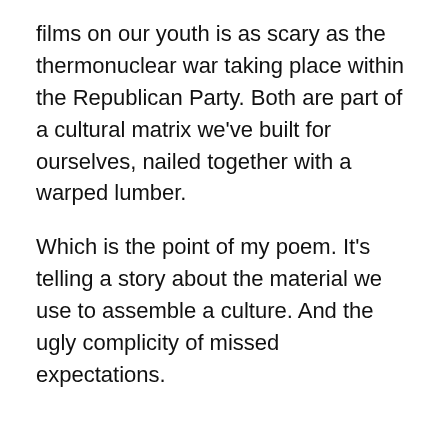films on our youth is as scary as the thermonuclear war taking place within the Republican Party. Both are part of a cultural matrix we've built for ourselves, nailed together with a warped lumber.
Which is the point of my poem. It's telling a story about the material we use to assemble a culture. And the ugly complicity of missed expectations.
Masculinity
Honestly, you women have it easy